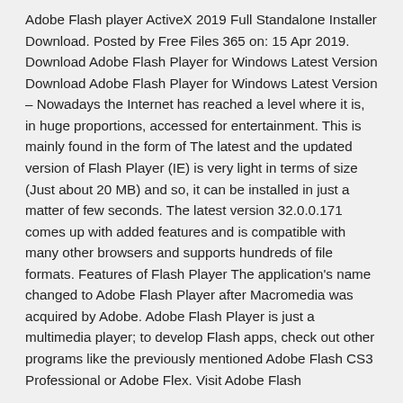Adobe Flash player ActiveX 2019 Full Standalone Installer Download. Posted by Free Files 365 on: 15 Apr 2019. Download Adobe Flash Player for Windows Latest Version Download Adobe Flash Player for Windows Latest Version – Nowadays the Internet has reached a level where it is, in huge proportions, accessed for entertainment. This is mainly found in the form of The latest and the updated version of Flash Player (IE) is very light in terms of size (Just about 20 MB) and so, it can be installed in just a matter of few seconds. The latest version 32.0.0.171 comes up with added features and is compatible with many other browsers and supports hundreds of file formats. Features of Flash Player The application's name changed to Adobe Flash Player after Macromedia was acquired by Adobe. Adobe Flash Player is just a multimedia player; to develop Flash apps, check out other programs like the previously mentioned Adobe Flash CS3 Professional or Adobe Flex. Visit Adobe Flash